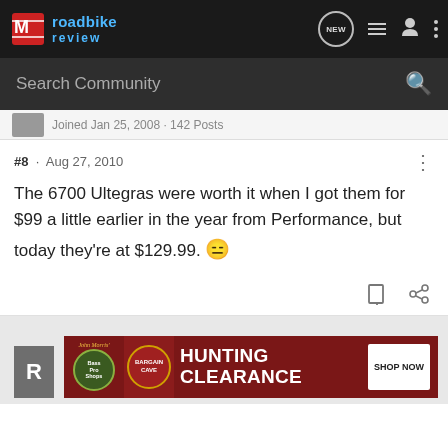roadbike review
Search Community
Joined Jan 25, 2008 · 142 Posts
#8 · Aug 27, 2010
The 6700 Ultegras were worth it when I got them for $99 a little earlier in the year from Performance, but today they're at $129.99.
[Figure (infographic): Bass Pro Shops Bargain Cave Hunting Clearance advertisement banner with Shop Now button]